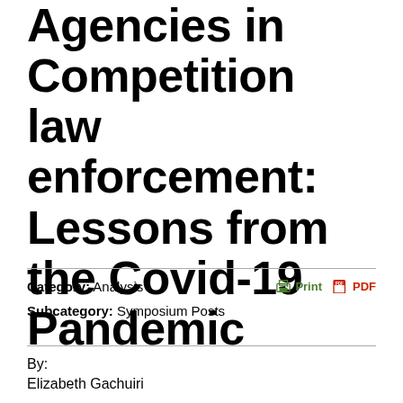Agencies in Competition law enforcement: Lessons from the Covid-19 Pandemic
Category: Analysis
Subcategory: Symposium Posts
By:
Elizabeth Gachuiri